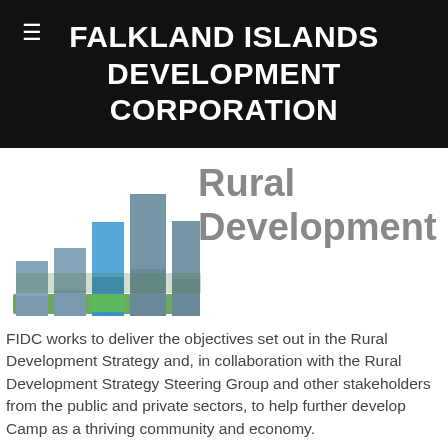FALKLAND ISLANDS DEVELOPMENT CORPORATION
[Figure (logo): FIDC logo: stylized bar chart silhouette with landscape imagery in blue, green and grey tones]
Rural Development
FIDC works to deliver the objectives set out in the Rural Development Strategy and, in collaboration with the Rural Development Strategy Steering Group and other stakeholders from the public and private sectors, to help further develop Camp as a thriving community and economy.